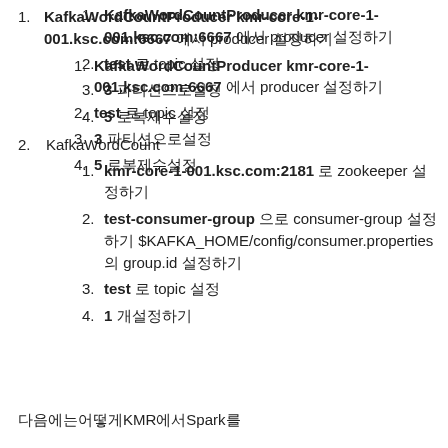KafkaWordCountProducer kmr-core-1-001.ksc.com:6667 에서 producer 설정하기
test 로 topic 설정
3 파티션으로설정
5 로복제수설정
KafkaWordCount
kmr-core-1-001.ksc.com:2181 로 zookeeper 설정하기
test-consumer-group 으로 consumer-group 설정하기 $KAFKA_HOME/config/consumer.properties 의 group.id 설정하기
test 로 topic 설정
1 개설정하기
다음에는어떻게KMR에서Spark를